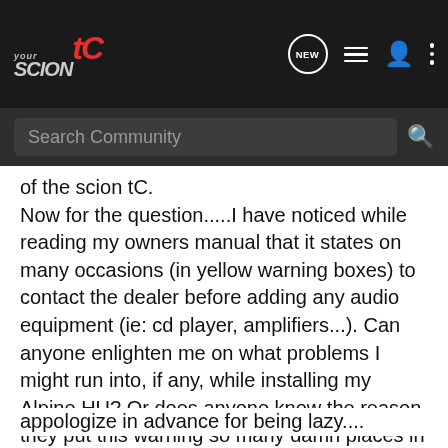[Figure (logo): YourScionTC website logo in top navigation bar with white/grey italic text and red 'tC' lettering]
NEW [icon] [list icon] [person icon] [dots icon]
Search Community
of the scion tC.
Now for the question.....I have noticed while reading my owners manual that it states on many occasions (in yellow warning boxes) to contact the dealer before adding any audio equipment (ie: cd player, amplifiers...). Can anyone enlighten me on what problems I might run into, if any, while installing my Alpine HU? Or does anyone know the reason they put this warning so many damn places in the manual? I have an 06 tC with the side curtain airbags if that makes any difference. I desperately need something other than the stock system and I hope to get started as soon as my CDT components arrive sometime next week. If this topic has already been covered, I
appologize in advance for being lazy....